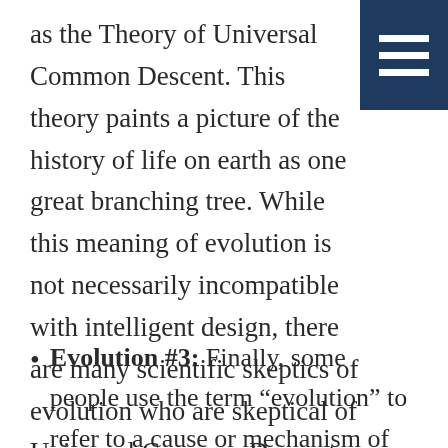as the Theory of Universal Common Descent. This theory paints a picture of the history of life on earth as one great branching tree. While this meaning of evolution is not necessarily incompatible with intelligent design, there are many scientific skeptics of evolution who are skeptical of Universal Common Descent.
Evolution #3: Finally, some people use the term “evolution” to refer to a cause or mechanism of change, the biological process Darwin thought was responsible for the branching pattern.